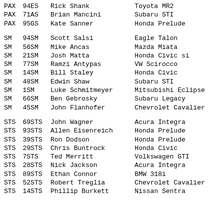| Class | Number | Name | Car |
| --- | --- | --- | --- |
| PAX | 94ES | Rick Shank | Toyota MR2 |
| PAX | 71AS | Brian Mancini | Subaru STI |
| PAX | 95GS | Kate Sanner | Honda Prelude |
| SM | 94SM | Scott Salsi | Eagle Talon |
| SM | 56SM | Mike Ancas | Mazda Miata |
| SM | 21SM | Josh Matta | Honda Civic si |
| SM | 77SM | Ramzi Antypas | VW Scirocco |
| SM | 14SM | Bill Staley | Honda Civic |
| SM | 48SM | Edwin Shaw | Subaru STI |
| SM | 1SM | Luke Schmitmeyer | Mitsubishi Eclipse |
| SM | 66SM | Ben Gebrosky | Subaru Legacy |
| SM | 45SM | John Flanhofer | Chevrolet Cavalier |
| STS | 69STS | John Wagner | Acura Integra |
| STS | 93STS | Allen Eisenreich | Honda Prelude |
| STS | 39STS | Ron Dodson | Honda Prelude |
| STS | 29STS | Chris Buntrock | Honda Civic |
| STS | 7STS | Ted Merritt | Volkswagen GTI |
| STS | 28STS | Nick Jackson | Acura Integra |
| STS | 89STS | Ethan Connor | BMW 318i |
| STS | 52STS | Robert Treglia | Chevrolet Cavalier |
| STS | 14STS | Phillip Burkett | Nissan Sentra |